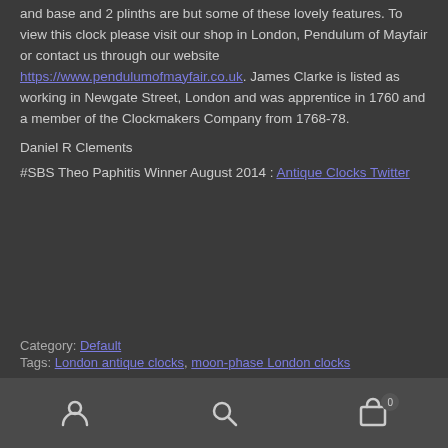and base and 2 plinths are but some of these lovely features. To view this clock please visit our shop in London, Pendulum of Mayfair or contact us through our website https://www.pendulumofmayfair.co.uk . James Clarke is listed as working in Newgate Street, London and was apprentice in 1760 and a member of the Clockmakers Company from 1768-78.
Daniel R Clements
#SBS Theo Paphitis Winner August 2014 : Antique Clocks Twitter
Category: Default
Tags: London antique clocks, moon-phase London clocks